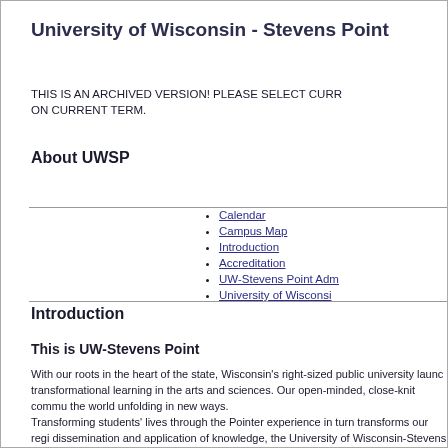University of Wisconsin - Stevens Point
THIS IS AN ARCHIVED VERSION! PLEASE SELECT CURR... ON CURRENT TERM.
About UWSP
Calendar
Campus Map
Introduction
Accreditation
UW-Stevens Point Adm...
University of Wisconsi...
Introduction
This is UW-Stevens Point
With our roots in the heart of the state, Wisconsin's right-sized public university launc... transformational learning in the arts and sciences. Our open-minded, close-knit commu... the world unfolding in new ways.
Transforming students' lives through the Pointer experience in turn transforms our regi... dissemination and application of knowledge, the University of Wisconsin-Stevens Poi...